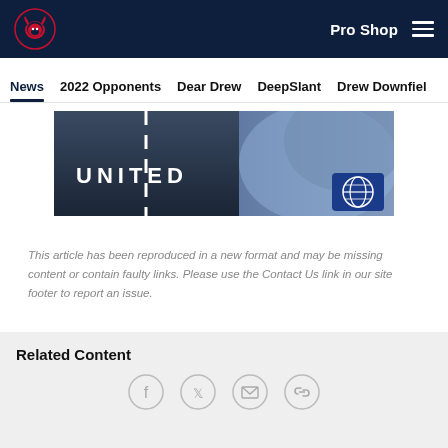Houston Texans — Pro Shop | Navigation: News, 2022 Opponents, Dear Drew, DeepSlant, Drew Downfield
[Figure (photo): United Airlines banner image — split image showing a road with white dashed center line on the left and a close-up of a United Airlines plane fuselage on the right, with the United logo globe in the lower right corner and 'UNITED' text in white capital letters on the left panel.]
This article has been reproduced in a new format and may be missing content or contain faulty links. Please use the Contact Us link in our site footer to report an issue.
Related Content